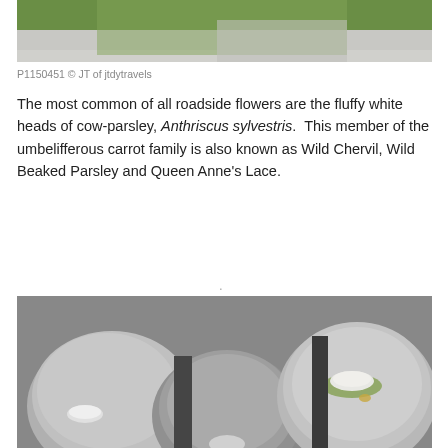[Figure (photo): Top portion of a photograph showing white fluffy flowers (cow-parsley) against a green background, with a grey road/path visible at the right side.]
P1150451 © JT of jtdytravels
The most common of all roadside flowers are the fluffy white heads of cow-parsley, Anthriscus sylvestris.  This member of the umbelifferous carrot family is also known as Wild Chervil, Wild Beaked Parsley and Queen Anne's Lace.
[Figure (photo): Photograph of three large grey granite stones/mortars arranged side by side, each with a smaller smooth white stone placed on top. The rightmost stone has some green moss and a small yellow object.]